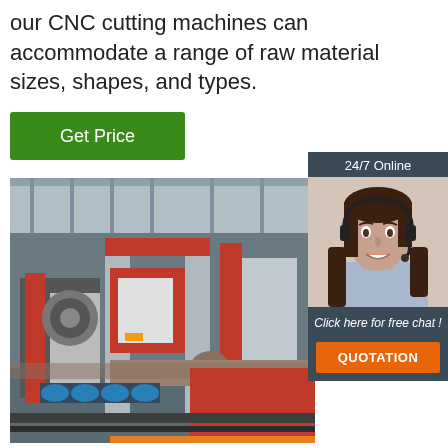our CNC cutting machines can accommodate a range of raw material sizes, shapes, and types.
Get Price
24/7 Online
[Figure (photo): CNC cutting machine in an industrial warehouse, featuring red and grey machinery with blue rollers and a metal pipe being cut]
[Figure (photo): Customer service representative woman wearing a headset and smiling, positioned in the 24/7 online chat widget]
Click here for free chat !
QUOTATION